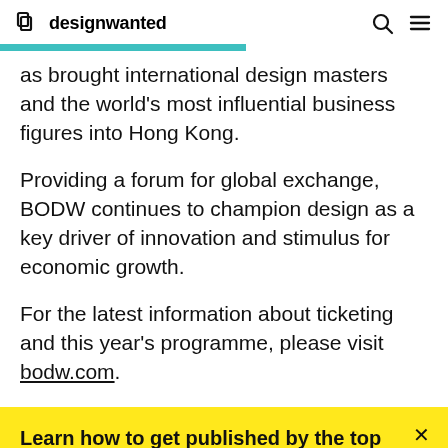designwanted
as brought international design masters and the world's most influential business figures into Hong Kong.
Providing a forum for global exchange, BODW continues to champion design as a key driver of innovation and stimulus for economic growth.
For the latest information about ticketing and this year's programme, please visit bodw.com.
Learn how to get published by the top design magazines
Get the E-book now →